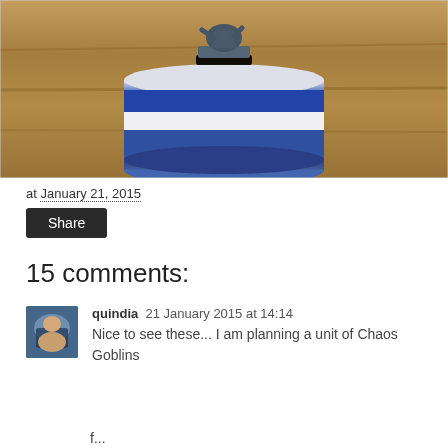[Figure (photo): Photo of a painted miniature figure (appears to be a Warhammer-style chaos goblin) sitting on top of a blue and white striped rounded object, placed on a wooden surface. The miniature is gray/blue colored and unpainted in some areas.]
at January 21, 2015
Share
15 comments:
quindia  21 January 2015 at 14:14
Nice to see these... I am planning a unit of Chaos Goblins